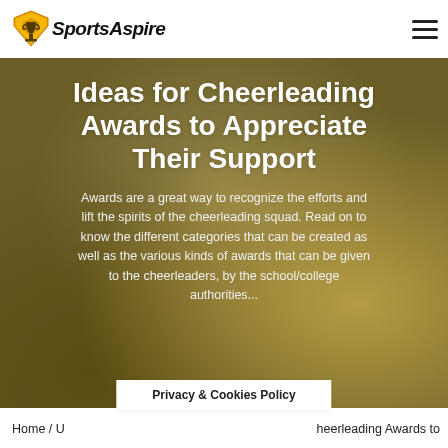SportsAspire
Ideas for Cheerleading Awards to Appreciate Their Support
Awards are a great way to recognize the efforts and lift the spirits of the cheerleading squad. Read on to know the different categories that can be created as well as the various kinds of awards that can be given to the cheerleaders, by the school/college authorities...
Privacy & Cookies Policy
Home / U... heerleading Awards to